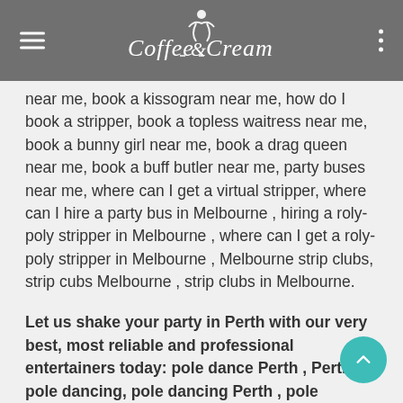Coffee & Cream
near me, book a kissogram near me, how do I book a stripper, book a topless waitress near me, book a bunny girl near me, book a drag queen near me, book a buff butler near me, party buses near me, where can I get a virtual stripper, where can I hire a party bus in Melbourne , hiring a roly-poly stripper in Melbourne , where can I get a roly-poly stripper in Melbourne , Melbourne strip clubs, strip cubs Melbourne , strip clubs in Melbourne.
Let us shake your party in Perth with our very best, most reliable and professional entertainers today: pole dance Perth , Perth pole dancing, pole dancing Perth , pole dancing in Perth , topless dancing Perth , topless dancing in Perth , free style dance on stage Perth , hot female escorts Perth , sexy hot strippers in Perth , luxury companions Perth , shemale sex escorts Perth , trans sex escorts Perth